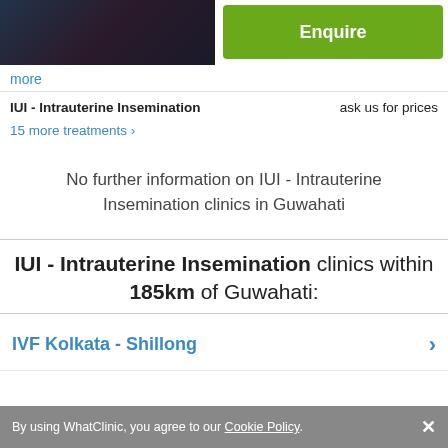[Figure (photo): Partial photo of a person in a dark suit with a red tie, only lower face and chest visible]
Enquire
more
IUI - Intrauterine Insemination    ask us for prices
15 more treatments >
No further information on IUI - Intrauterine Insemination clinics in Guwahati
IUI - Intrauterine Insemination clinics within 185km of Guwahati:
IVF Kolkata - Shillong
By using WhatClinic, you agree to our Cookie Policy.